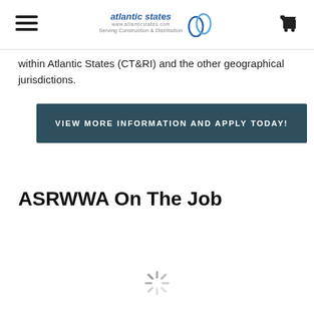atlantic states [logo with water drops]
within Atlantic States (CT&RI) and the other geographical jurisdictions.
VIEW MORE INFORMATION AND APPLY TODAY!
ASRWWA On The Job
[Figure (other): Loading spinner icon]